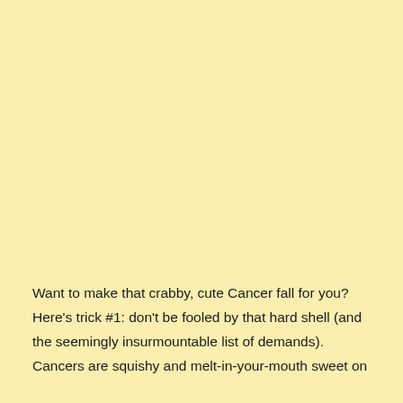Want to make that crabby, cute Cancer fall for you? Here's trick #1: don't be fooled by that hard shell (and the seemingly insurmountable list of demands). Cancers are squishy and melt-in-your-mouth sweet on